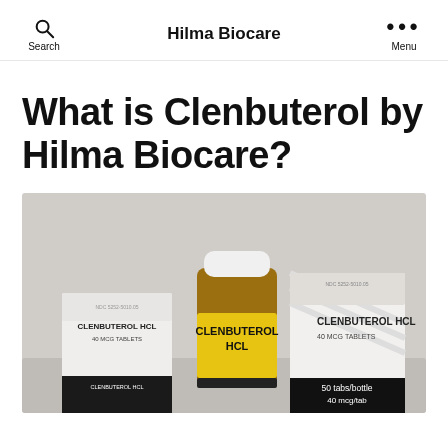Hilma Biocare
What is Clenbuterol by Hilma Biocare?
[Figure (photo): Photo of Clenbuterol HCL products by Hilma Biocare: a yellow-labeled amber bottle (CLENBUTEROL HCL) and two white cardboard boxes (CLENBUTEROL HCL 40 MCG TABLETS, 50 tabs/bottle, 40 mcg/tab) against a light grey background.]